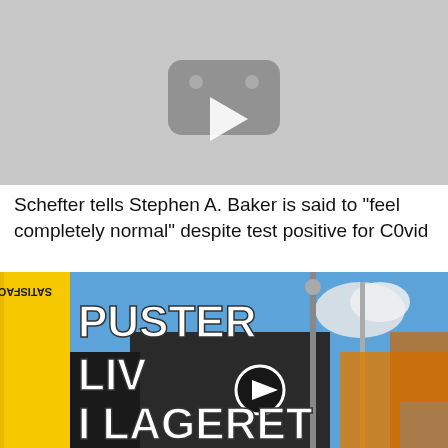[Figure (screenshot): Video thumbnail placeholder with play button icon on gray background]
Schefter tells Stephen A. Baker is said to “feel completely normal” despite test positive for C0vid
[Figure (screenshot): Video thumbnail for Satisfactory game content showing text PUSTER LIV I LAGERET with industrial game scene and play button]